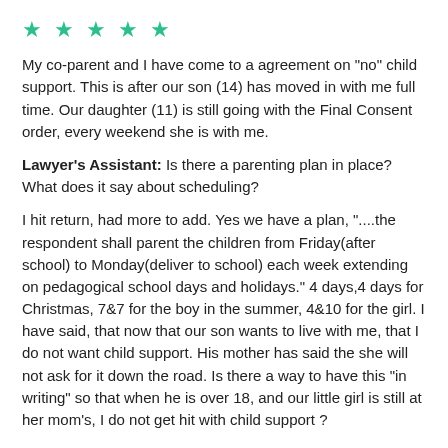[Figure (other): Five green star rating icons]
My co-parent and I have come to a agreement on "no" child support. This is after our son (14) has moved in with me full time. Our daughter (11) is still going with the Final Consent order, every weekend she is with me.
Lawyer's Assistant: Is there a parenting plan in place? What does it say about scheduling?
I hit return, had more to add. Yes we have a plan, "....the respondent shall parent the children from Friday(after school) to Monday(deliver to school) each week extending on pedagogical school days and holidays." 4 days,4 days for Christmas, 7&7 for the boy in the summer, 4&10 for the girl. I have said, that now that our son wants to live with me, that I do not want child support. His mother has said the she will not ask for it down the road. Is there a way to have this "in writing" so that when he is over 18, and our little girl is still at her mom's, I do not get hit with child support ?